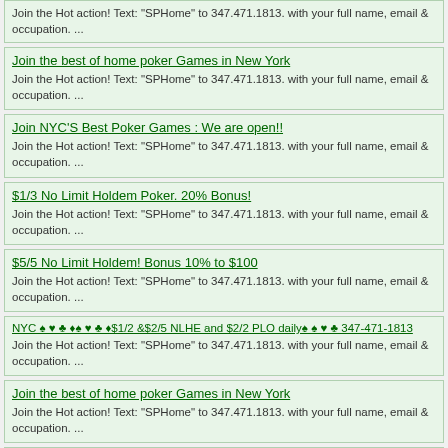Join the Hot action! Text: "SPHome" to 347.471.1813. with your full name, email & occupation. ...
Join the best of home poker Games in New York
Join the Hot action! Text: "SPHome" to 347.471.1813. with your full name, email & occupation. ...
Join NYC'S Best Poker Games : We are open!!
Join the Hot action! Text: "SPHome" to 347.471.1813. with your full name, email & occupation. ...
$1/3 No Limit Holdem Poker. 20% Bonus!
Join the Hot action! Text: "SPHome" to 347.471.1813. with your full name, email & occupation. ...
$5/5 No Limit Holdem! Bonus 10% to $100
Join the Hot action! Text: "SPHome" to 347.471.1813. with your full name, email & occupation. ...
NYC ♠ ♥ ♣ ♦♠ ♥ ♣ ♦$1/2 &$2/5 NLHE and $2/2 PLO daily♠ ♠ ♥ ♣ 347-471-1813
Join the Hot action! Text: "SPHome" to 347.471.1813. with your full name, email & occupation. ...
Join the best of home poker Games in New York
Join the Hot action! Text: "SPHome" to 347.471.1813. with your full name, email & occupation. ...
Join NYC'S Best Poker Games : We are open!!
Join the Hot action! Text: "SPHome" to 347.471.1813. with your full name, email & occupation. ...